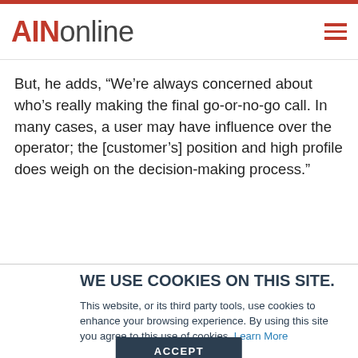AINonline
But, he adds, “We’re always concerned about who’s really making the final go-or-no-go call. In many cases, a user may have influence over the operator; the [customer’s] position and high profile does weigh on the decision-making process.”
WE USE COOKIES ON THIS SITE.
This website, or its third party tools, use cookies to enhance your browsing experience. By using this site you agree to this use of cookies. Learn More
ACCEPT